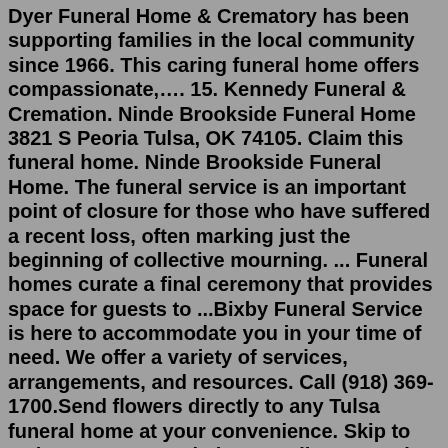Dyer Funeral Home & Crematory has been supporting families in the local community since 1966. This caring funeral home offers compassionate,…. 15. Kennedy Funeral & Cremation. Ninde Brookside Funeral Home 3821 S Peoria Tulsa, OK 74105. Claim this funeral home. Ninde Brookside Funeral Home. The funeral service is an important point of closure for those who have suffered a recent loss, often marking just the beginning of collective mourning. ... Funeral homes curate a final ceremony that provides space for guests to ...Bixby Funeral Service is here to accommodate you in your time of need. We offer a variety of services, arrangements, and resources. Call (918) 369-1700.Send flowers directly to any Tulsa funeral home at your convenience. Skip to Main Content. Local Flower Delivery to Tulsa, Broken Arrow, Jenks, Bixby (918) 986-1300; Hours & Location; ... Mark Griffith Memorial Funeral Home; Moore Funeral Home; Ninde Funeral & Cremation; Rose Hill Funeral Home and Memorial Park;Gary Kelley's Add'Vantage